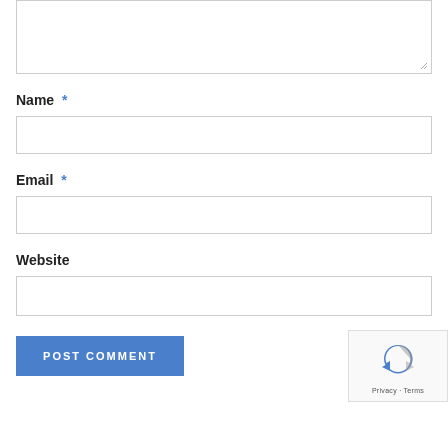[Figure (screenshot): Top portion of a comment form showing a textarea input with resize handle visible at bottom-right corner]
Name *
[Figure (screenshot): Empty text input field for Name]
Email *
[Figure (screenshot): Empty text input field for Email]
Website
[Figure (screenshot): Empty text input field for Website]
[Figure (screenshot): Blue POST COMMENT button and reCAPTCHA widget showing the reCAPTCHA logo and Privacy - Terms text]